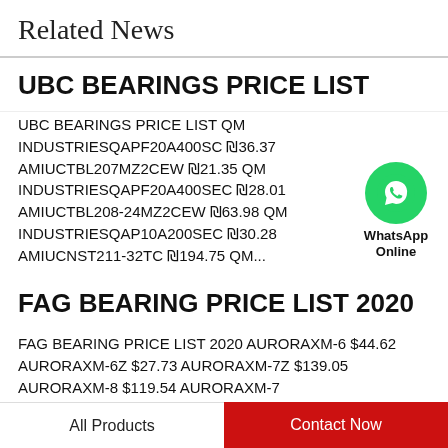Related News
UBC BEARINGS PRICE LIST
UBC BEARINGS PRICE LIST QM INDUSTRIESQAPF20A400SC ₪36.37 AMIUCTBL207MZ2CEW ₪21.35 QM INDUSTRIESQAPF20A400SEC ₪28.01 AMIUCTBL208-24MZ2CEW ₪63.98 QM INDUSTRIESQAP10A200SEC ₪30.28 AMIUCNST211-32TC ₪194.75 QM...
[Figure (illustration): WhatsApp Online green circle button with phone icon and label]
FAG BEARING PRICE LIST 2020
FAG BEARING PRICE LIST 2020 AURORAXM-6 $44.62 AURORAXM-6Z $27.73 AURORAXM-7Z $139.05 AURORAXM-8 $119.54 AURORAXM-7...
All Products   Contact Now